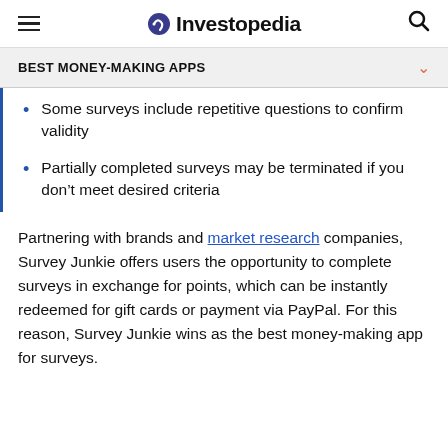Investopedia
BEST MONEY-MAKING APPS
Some surveys include repetitive questions to confirm validity
Partially completed surveys may be terminated if you don't meet desired criteria
Partnering with brands and market research companies, Survey Junkie offers users the opportunity to complete surveys in exchange for points, which can be instantly redeemed for gift cards or payment via PayPal. For this reason, Survey Junkie wins as the best money-making app for surveys.